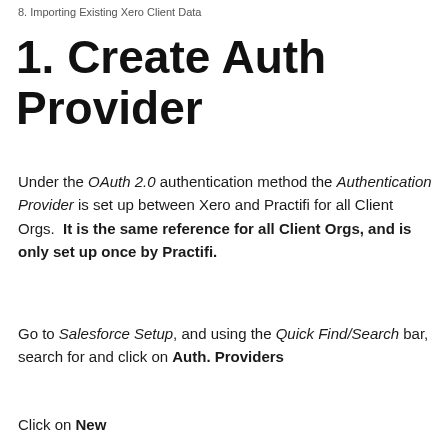8. Importing Existing Xero Client Data
1. Create Auth Provider
Under the OAuth 2.0 authentication method the Authentication Provider is set up between Xero and Practifi for all Client Orgs.  It is the same reference for all Client Orgs, and is only set up once by Practifi.
Go to Salesforce Setup, and using the Quick Find/Search bar, search for and click on Auth. Providers
Click on New